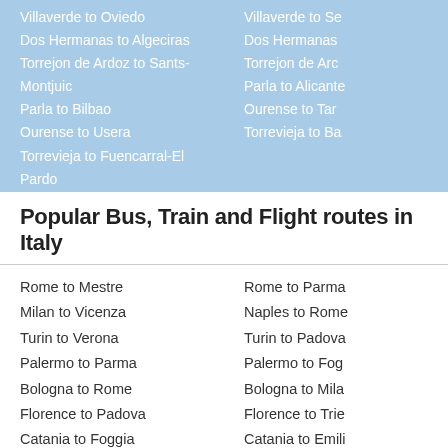Villaverde to Oviedo
Dos Hermanas to Algeciras
Torrejon de Ardoz to Sants-Montjuic
Parla to Bilbao
Ourense to Usera
Torrevieja to Fuencarral-El Pardo
Villaverde to Se...
Dos Hermanas...
Torrejon de Ard...
Parla to Alicante...
Ourense to Tar...
Torrevieja to Ba...
Popular Bus, Train and Flight routes in Italy
Rome to Mestre
Milan to Vicenza
Turin to Verona
Palermo to Parma
Bologna to Rome
Florence to Padova
Catania to Foggia
Rome to Parma...
Naples to Rome...
Turin to Padova...
Palermo to Fog...
Bologna to Mila...
Florence to Trie...
Catania to Emili...